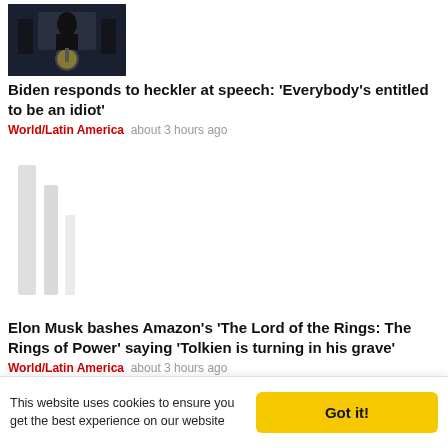[Figure (photo): Photo of person at podium with presidential seal, dark background]
Biden responds to heckler at speech: 'Everybody's entitled to be an idiot'
World/Latin America   about 3 hours ago
[Figure (photo): Blurred/loading image placeholder with gray vertical bars]
Elon Musk bashes Amazon's 'The Lord of the Rings: The Rings of Power' saying 'Tolkien is turning in his grave'
World/Latin America   about 3 hours ago
[Figure (photo): Blurred/loading image placeholder with gray vertical bars]
This website uses cookies to ensure you get the best experience on our website